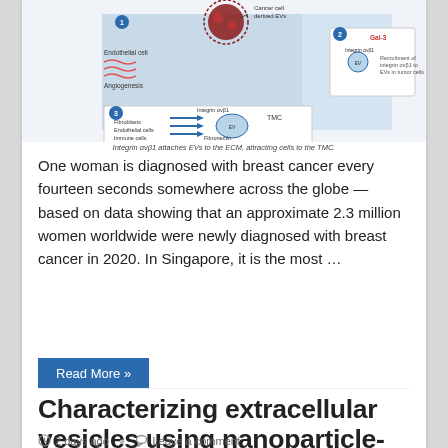[Figure (schematic): Diagram showing cancer cell derived extracellular vesicles (EVs), their role in angiogenesis via endothelial cells, Gal-3 and integrin αvβ1 recruitment in tumor cells, and integrin αvβ1 attaching EVs to the ECM attracting cells to the TMC (tumor microenvironment). Numbered steps 1-3 showing fibroblasts, endothelial cells, immune cells interacting with fibronectin via integrin αvβ1.]
Integrin αvβ1 attaches EVs to the ECM, attracting cells to the TMC.
One woman is diagnosed with breast cancer every fourteen seconds somewhere across the globe — based on data showing that an approximate 2.3 million women worldwide were newly diagnosed with breast cancer in 2020. In Singapore, it is the most …
Read More »
Characterizing extracellular vesicles using nanoparticle-tracking analysis
2 days ago   Leave a comment